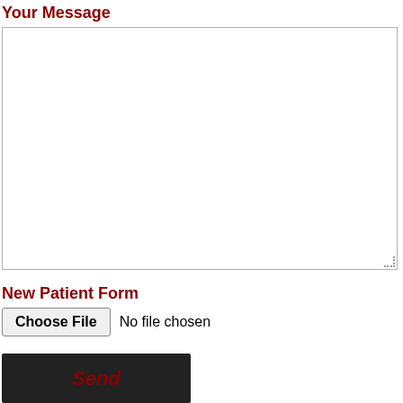Your Message
[Figure (other): Empty text area input box for user message]
New Patient Form
Choose File  No file chosen
Send